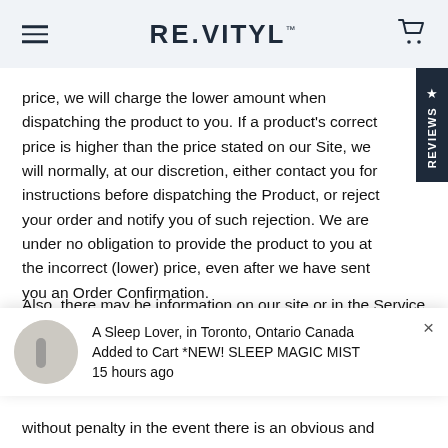RE.VITYL
price, we will charge the lower amount when dispatching the product to you. If a product's correct price is higher than the price stated on our Site, we will normally, at our discretion, either contact you for instructions before dispatching the Product, or reject your order and notify you of such rejection. We are under no obligation to provide the product to you at the incorrect (lower) price, even after we have sent you an Order Confirmation.
Also, there may be information on our site or in the Service that contains typographical errors, inaccuracies or omissions that may relate to product descriptions, promotions, offers, product shipping charges, transit times
A Sleep Lover, in Toronto, Ontario Canada
Added to Cart *NEW! SLEEP MAGIC MIST
15 hours ago
without penalty in the event there is an obvious and